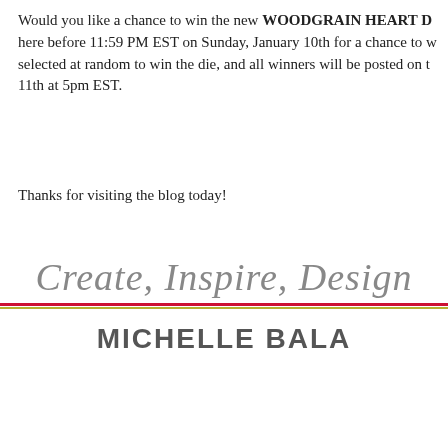Would you like a chance to win the new WOODGRAIN HEART D… here before 11:59 PM EST on Sunday, January 10th for a chance to w… selected at random to win the die, and all winners will be posted on t… 11th at 5pm EST.
Thanks for visiting the blog today!
[Figure (illustration): Cursive script signature reading 'Create, Inspire, Design' in gray, followed by two horizontal lines (red and olive/yellow-green), then bold sans-serif text 'MICHELLE BALA' in dark gray.]